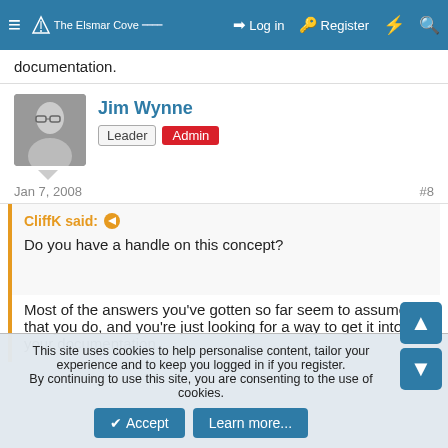≡  The Elsmar Cove  [logo]   Log in   Register   ⚡   🔍
documentation.
Jim Wynne
Leader  Admin
Jan 7, 2008   #8
CliffK said: ↗
Do you have a handle on this concept?
Most of the answers you've gotten so far seem to assume that you do, and you're just looking for a way to get it into your documentation.
This site uses cookies to help personalise content, tailor your experience and to keep you logged in if you register.
By continuing to use this site, you are consenting to the use of cookies.
Accept   Learn more...